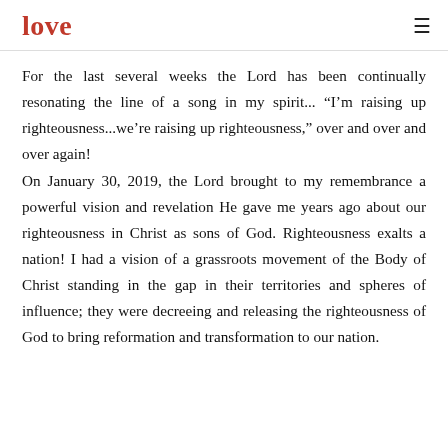love
For the last several weeks the Lord has been continually resonating the line of a song in my spirit... “I’m raising up righteousness...we’re raising up righteousness,” over and over and over again! On January 30, 2019, the Lord brought to my remembrance a powerful vision and revelation He gave me years ago about our righteousness in Christ as sons of God. Righteousness exalts a nation! I had a vision of a grassroots movement of the Body of Christ standing in the gap in their territories and spheres of influence; they were decreeing and releasing the righteousness of God to bring reformation and transformation to our nation.